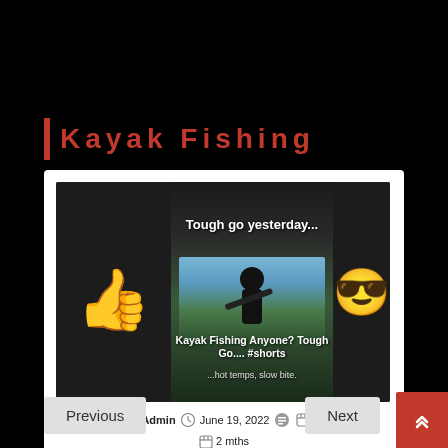Kayak Fishing
[Figure (screenshot): Video thumbnail for 'Kayak Fishing Anyone? Tough Go.... #shorts' showing a person fishing from a kayak, with thumbs-up emoji on the left and sunglasses emoji on the right, text overlay 'Tough go yesterday...' at top]
by Admin  June 19, 2022   1 min  2 mths
Previous
Next